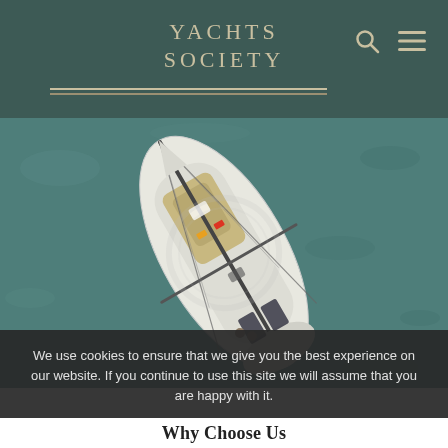YACHTS SOCIETY
[Figure (photo): Aerial top-down view of a white sailing yacht on teal/greenish water, showing mast, boom, deck, and rigging from above]
We use cookies to ensure that we give you the best experience on our website. If you continue to use this site we will assume that you are happy with it.
Ok   No   Privacy policy
Why Choose Us